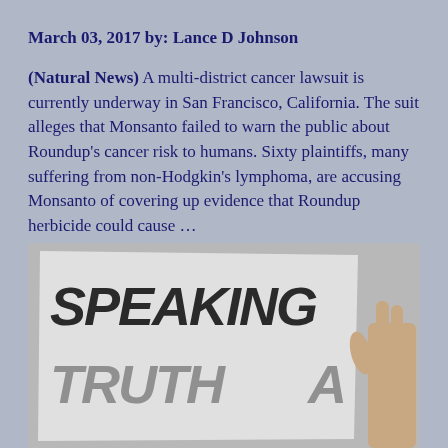March 03, 2017 by: Lance D Johnson
(Natural News) A multi-district cancer lawsuit is currently underway in San Francisco, California. The suit alleges that Monsanto failed to warn the public about Roundup's cancer risk to humans. Sixty plaintiffs, many suffering from non-Hodgkin's lymphoma, are accusing Monsanto of covering up evidence that Roundup herbicide could cause ... [Read More...]
[Figure (photo): Black and white photo of a person holding a sign with handwritten text reading 'SPEAKING TRUTH']